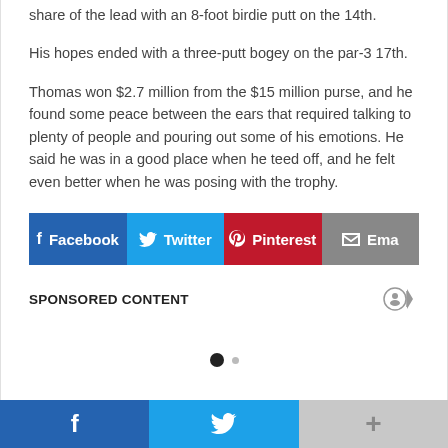share of the lead with an 8-foot birdie putt on the 14th.
His hopes ended with a three-putt bogey on the par-3 17th.
Thomas won $2.7 million from the $15 million purse, and he found some peace between the ears that required talking to plenty of people and pouring out some of his emotions. He said he was in a good place when he teed off, and he felt even better when he was posing with the trophy.
[Figure (infographic): Social share buttons: Facebook (blue), Twitter (light blue), Pinterest (red), Email (gray)]
SPONSORED CONTENT
[Figure (other): Carousel dots: one filled black circle and one smaller gray circle]
[Figure (infographic): Bottom navigation bar with Facebook (blue), Twitter (light blue), and More/Plus (gray) icons]